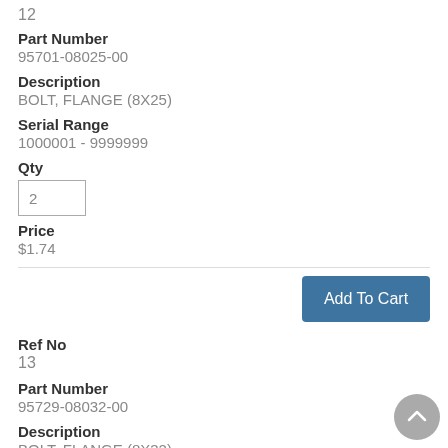12
Part Number
95701-08025-00
Description
BOLT, FLANGE (8X25)
Serial Range
1000001 - 9999999
Qty
2
Price
$1.74
Add To Cart
Ref No
13
Part Number
95729-08032-00
Description
BOLT, FLANGE (8X32)
Serial Range